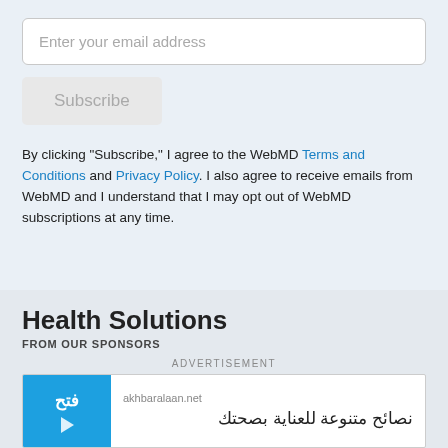Enter your email address
Subscribe
By clicking "Subscribe," I agree to the WebMD Terms and Conditions and Privacy Policy. I also agree to receive emails from WebMD and I understand that I may opt out of WebMD subscriptions at any time.
Health Solutions
FROM OUR SPONSORS
ADVERTISEMENT
[Figure (other): Advertisement banner for akhbaralaan.net showing a blue button with Arabic text 'فتح' and Arabic text 'نصائح متنوعة للعناية بصحتك']